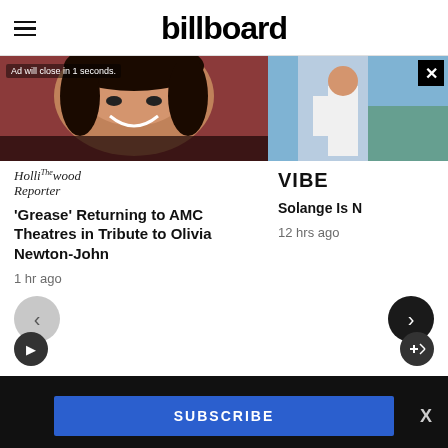billboard
[Figure (photo): Photo of a smiling woman (partially cropped), left side of carousel with ad overlay text 'Ad will close in 1 seconds.']
[Figure (photo): Partially visible right-side photo of a person in white pants with a close X button.]
The Hollywood Reporter
VIBE
'Grease' Returning to AMC Theatres in Tribute to Olivia Newton-John
Solange Is N
1 hr ago
12 hrs ago
SUBSCRIBE
The best of Apple.
All in one.
Learn more